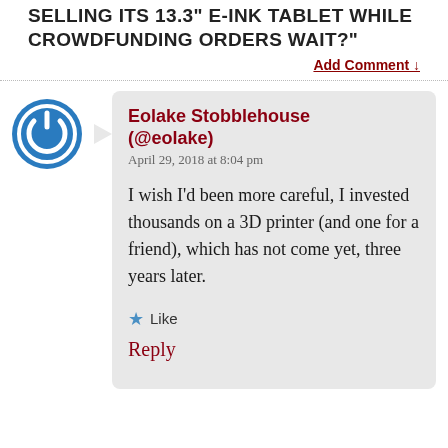SELLING ITS 13.3" E-INK TABLET WHILE CROWDFUNDING ORDERS WAIT?"
Add Comment ↓
Eolake Stobblehouse (@eolake)
April 29, 2018 at 8:04 pm

I wish I'd been more careful, I invested thousands on a 3D printer (and one for a friend), which has not come yet, three years later.

★ Like

Reply